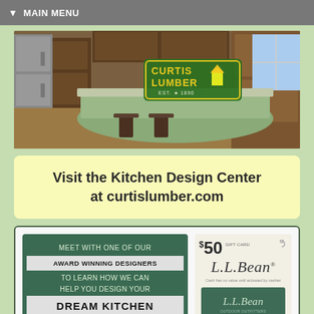MAIN MENU
[Figure (photo): Curtis Lumber banner image showing a kitchen with wood cabinets and a green island, with the Curtis Lumber logo overlay (EST. 1890)]
Visit the Kitchen Design Center at curtislumber.com
[Figure (infographic): Promotional graphic with green background text block: 'MEET WITH ONE OF OUR AWARD WINNING DESIGNERS TO LEARN HOW WE CAN HELP YOU DESIGN YOUR DREAM KITCHEN AND GET A FREE' alongside an L.L.Bean $50 gift card image]